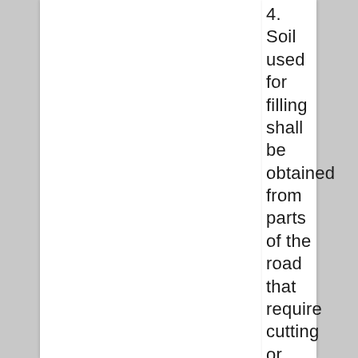4. Soil used for filling shall be obtained from parts of the road that require cutting or from approved burrow-pits, or from where